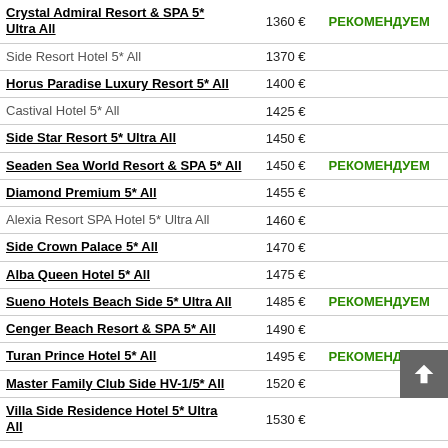| Hotel | Price | Tag |
| --- | --- | --- |
| Crystal Admiral Resort & SPA 5* Ultra All | 1360 € | РЕКОМЕНДУЕМ |
| Side Resort Hotel 5* All | 1370 € |  |
| Horus Paradise Luxury Resort 5* All | 1400 € |  |
| Castival Hotel 5* All | 1425 € |  |
| Side Star Resort 5* Ultra All | 1450 € |  |
| Seaden Sea World Resort & SPA 5* All | 1450 € | РЕКОМЕНДУЕМ |
| Diamond Premium 5* All | 1455 € |  |
| Alexia Resort SPA Hotel 5* Ultra All | 1460 € |  |
| Side Crown Palace 5* All | 1470 € |  |
| Alba Queen Hotel 5* All | 1475 € |  |
| Sueno Hotels Beach Side 5* Ultra All | 1485 € | РЕКОМЕНДУЕМ |
| Cenger Beach Resort & SPA 5* All | 1490 € |  |
| Turan Prince Hotel 5* All | 1495 € | РЕКОМЕНДУЕМ |
| Master Family Club Side HV-1/5* All | 1520 € |  |
| Villa Side Residence Hotel 5* Ultra All | 1530 € |  |
| Crystal Palace Luxury Resort & SPA 5* Ultra All | 1530 € | РЕКОМЕНДУЕМ |